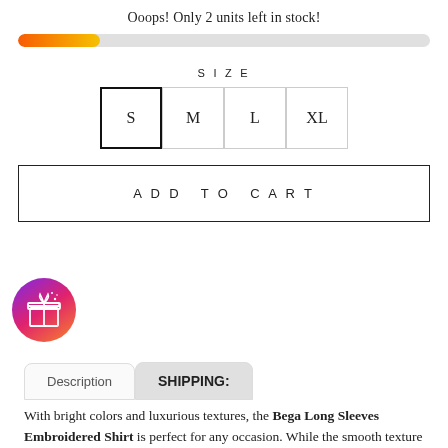Ooops! Only 2 units left in stock!
[Figure (infographic): A horizontal progress bar showing approximately 20% filled, with an orange-to-yellow gradient fill on the left and a light gray unfilled portion on the right.]
SIZE
[Figure (infographic): Four size selector buttons in a row: S (selected, with bold border), M, L, XL]
ADD TO CART
[Figure (illustration): A circular icon with a purple-to-orange gradient background containing a white gift box illustration with stars/sparkles.]
Description    SHIPPING:
With bright colors and luxurious textures, the Bega Long Sleeves Embroidered Shirt is perfect for any occasion. While the smooth texture allows you to be comfortable, the